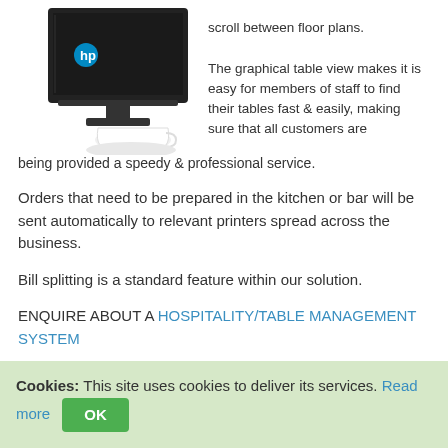[Figure (photo): HP touchscreen POS terminal with a white coffee cup and saucer in front]
scroll between floor plans. The graphical table view makes it is easy for members of staff to find their tables fast & easily, making sure that all customers are being provided a speedy & professional service.
Orders that need to be prepared in the kitchen or bar will be sent automatically to relevant printers spread across the business.
Bill splitting is a standard feature within our solution.
ENQUIRE ABOUT A HOSPITALITY/TABLE MANAGEMENT SYSTEM
CUSTOMER LOYALTY POINTS
[Figure (photo): Partial green circle/logo image]
The POS Loyalty module is fully
Cookies: This site uses cookies to deliver its services. Read more